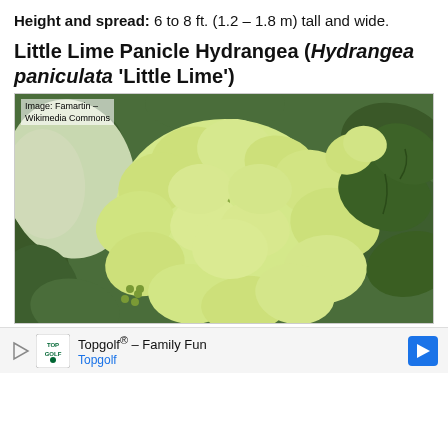Height and spread: 6 to 8 ft. (1.2 – 1.8 m) tall and wide.
Little Lime Panicle Hydrangea (Hydrangea paniculata 'Little Lime')
[Figure (photo): Close-up photograph of Little Lime Panicle Hydrangea flowers showing lime-green/white blooms with green leaves in the background. Image credit: Famartin - Wikimedia Commons]
Image: Famartin - Wikimedia Commons
Topgolf® - Family Fun Topgolf